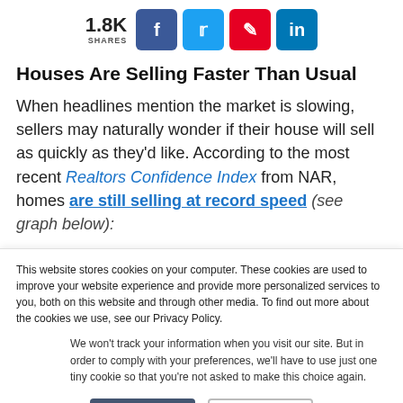[Figure (other): Social share bar showing 1.8K SHARES with Facebook, Twitter, Pinterest, and LinkedIn buttons]
Houses Are Selling Faster Than Usual
When headlines mention the market is slowing, sellers may naturally wonder if their house will sell as quickly as they'd like. According to the most recent Realtors Confidence Index from NAR, homes are still selling at record speed (see graph below):
This website stores cookies on your computer. These cookies are used to improve your website experience and provide more personalized services to you, both on this website and through other media. To find out more about the cookies we use, see our Privacy Policy.
We won't track your information when you visit our site. But in order to comply with your preferences, we'll have to use just one tiny cookie so that you're not asked to make this choice again.